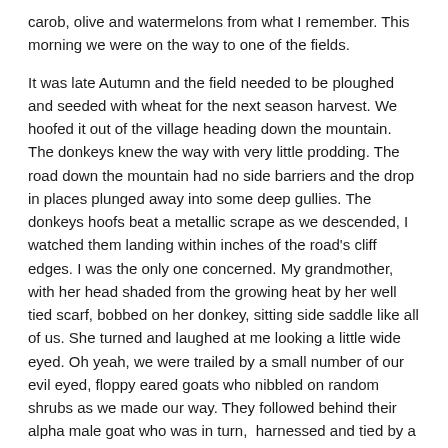carob, olive and watermelons from what I remember. This morning we were on the way to one of the fields.
It was late Autumn and the field needed to be ploughed and seeded with wheat for the next season harvest. We hoofed it out of the village heading down the mountain. The donkeys knew the way with very little prodding. The road down the mountain had no side barriers and the drop in places plunged away into some deep gullies. The donkeys hoofs beat a metallic scrape as we descended, I watched them landing within inches of the road's cliff edges. I was the only one concerned. My grandmother, with her head shaded from the growing heat by her well tied scarf, bobbed on her donkey, sitting side saddle like all of us. She turned and laughed at me looking a little wide eyed. Oh yeah, we were trailed by a small number of our evil eyed, floppy eared goats who nibbled on random shrubs as we made our way. They followed behind their alpha male goat who was in turn,  harnessed and tied by a long rope to my donkey.
The field in the low lands between the mountain and the Mediterranean, had large old carob trees. To my amazement, my grandfather. The shade was a sanctuary of the shade gave us...